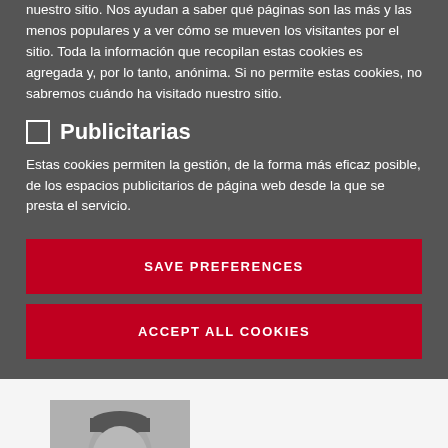nuestro sitio. Nos ayudan a saber qué páginas son las más y las menos populares y a ver cómo se mueven los visitantes por el sitio. Toda la información que recopilan estas cookies es agregada y, por lo tanto, anónima. Si no permite estas cookies, no sabremos cuándo ha visitado nuestro sitio.
Publicitarias
Estas cookies permiten la gestión, de la forma más eficaz posible, de los espacios publicitarios de página web desde la que se presta el servicio.
SAVE PREFERENCES
ACCEPT ALL COOKIES
[Figure (photo): Black and white portrait photo of a middle-aged man with short hair, partial view from shoulders up]